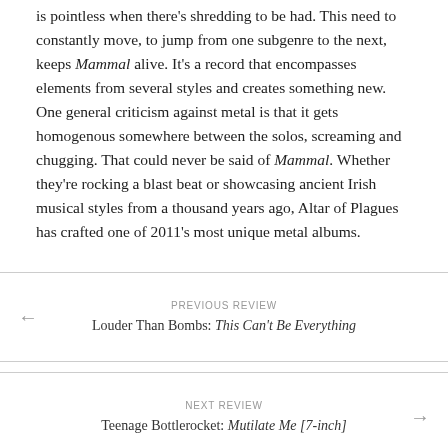is pointless when there's shredding to be had. This need to constantly move, to jump from one subgenre to the next, keeps Mammal alive. It's a record that encompasses elements from several styles and creates something new. One general criticism against metal is that it gets homogenous somewhere between the solos, screaming and chugging. That could never be said of Mammal. Whether they're rocking a blast beat or showcasing ancient Irish musical styles from a thousand years ago, Altar of Plagues has crafted one of 2011's most unique metal albums.
PREVIOUS REVIEW
Louder Than Bombs: This Can't Be Everything
NEXT REVIEW
Teenage Bottlerocket: Mutilate Me [7-inch]